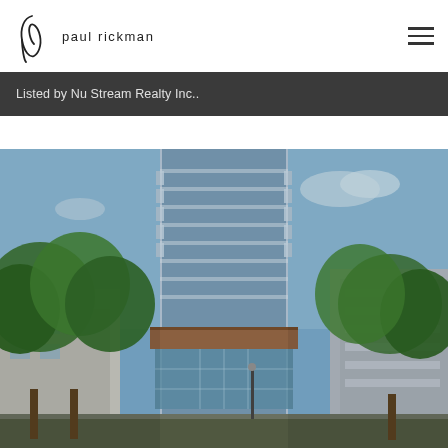paul rickman
Listed by Nu Stream Realty Inc..
[Figure (photo): Upward-angle photograph of a modern glass high-rise condominium tower surrounded by green trees against a blue sky, with balconies visible along the facade and a wood-paneled podium level]